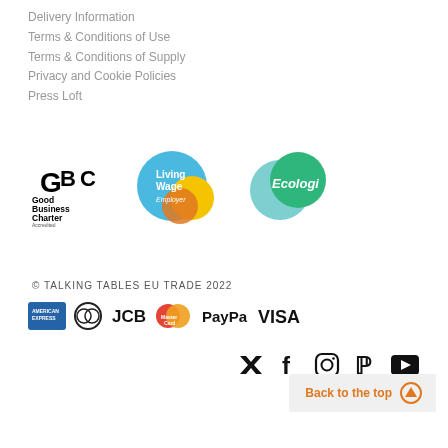Delivery Information
Terms & Conditions of Use
Terms & Conditions of Supply
Privacy and Cookie Policies
Press Loft
[Figure (logo): Good Business Charter Accredited logo, Living Wage Employer logo, Ecologi logo]
© TALKING TABLES EU TRADE 2022
[Figure (logo): Payment method icons: American Express, Diners Club, JCB, MasterCard, PayPal, VISA]
[Figure (logo): Social media icons: Twitter, Facebook, Instagram, Pinterest, YouTube]
Back to the top